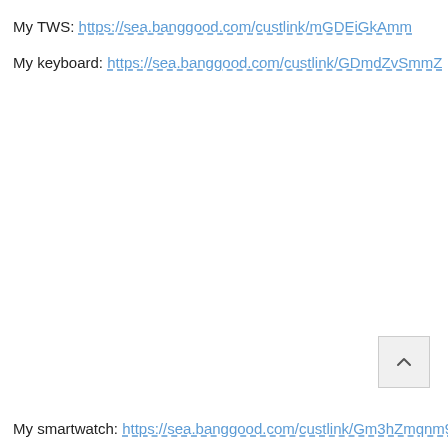My TWS: https://sea.banggood.com/custlink/mGDEiGkAmm
My keyboard: https://sea.banggood.com/custlink/GDmdZvSmmZ
My smartwatch: https://sea.banggood.com/custlink/Gm3hZmqnm9